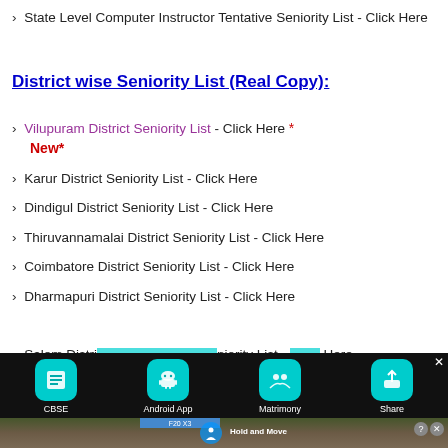> State Level Computer Instructor Tentative Seniority List - Click Here
District wise Seniority List (Real Copy):
> Vilupuram District Seniority List - Click Here * New*
> Karur District Seniority List - Click Here
> Dindigul District Seniority List - Click Here
> Thiruvannamalai District Seniority List - Click Here
> Coimbatore District Seniority List - Click Here
> Dharmapuri District Seniority List - Click Here
> Salem District Seniority List - Click Here
[Figure (screenshot): Mobile app advertisement bar at the bottom showing CBSE, Android App, Matrimony, Share icons on dark background, with a partial ad image below showing a forest/outdoor scene with a person icon and 'Hold and Move' text]